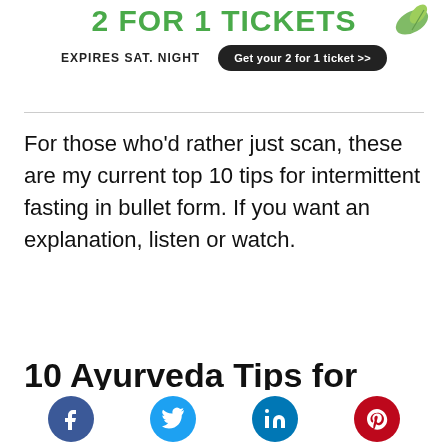[Figure (other): Advertisement banner: '2 FOR 1 TICKETS' in green bold text with 'EXPIRES SAT. NIGHT' and a dark button 'Get your 2 for 1 ticket >>']
For those who'd rather just scan, these are my current top 10 tips for intermittent fasting in bullet form. If you want an explanation, listen or watch.
10 Ayurveda Tips for Intermittent Fasting
[Figure (other): Social sharing icons row: Facebook (blue), Twitter (light blue), LinkedIn (dark blue), Pinterest (red)]